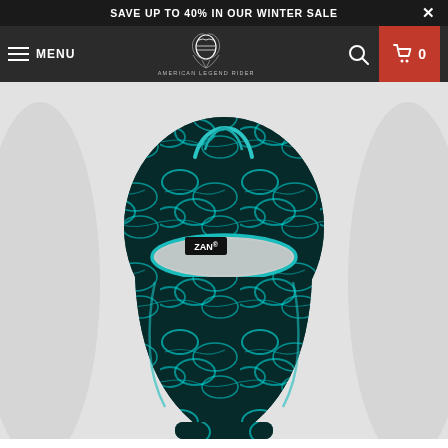SAVE UP TO 40% IN OUR WINTER SALE
MENU | AMERICAN LEGEND RIDER | Search | Cart 0
[Figure (photo): ZAN balaclava face mask with aqua/teal water ripple pattern design, displayed on a mannequin head against a light grey background]